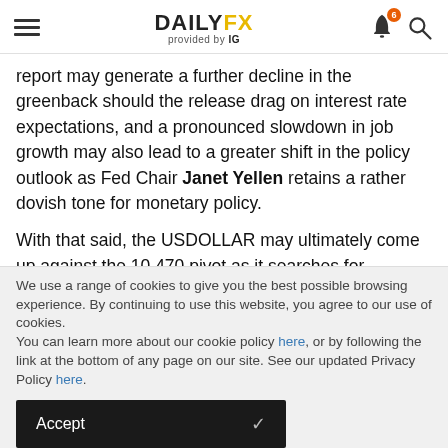DAILYFX provided by IG
report may generate a further decline in the greenback should the release drag on interest rate expectations, and a pronounced slowdown in job growth may also lead to a greater shift in the policy outlook as Fed Chair Janet Yellen retains a rather dovish tone for monetary policy.
With that said, the USDOLLAR may ultimately come up against the 10,470 pivot as it searches for support, and we may continue to see a series of lower highs & lower lows in the first half of 2014 as the recent slowdown in economic
We use a range of cookies to give you the best possible browsing experience. By continuing to use this website, you agree to our use of cookies.
You can learn more about our cookie policy here, or by following the link at the bottom of any page on our site. See our updated Privacy Policy here.